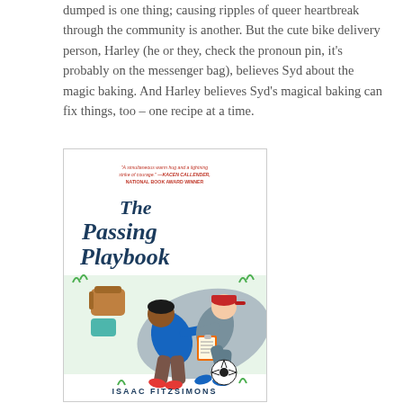dumped is one thing; causing ripples of queer heartbreak through the community is another. But the cute bike delivery person, Harley (he or they, check the pronoun pin, it's probably on the messenger bag), believes Syd about the magic baking. And Harley believes Syd's magical baking can fix things, too – one recipe at a time.
[Figure (illustration): Book cover of 'The Passing Playbook' by Isaac Fitzsimons. Illustrated cover showing two young people lying on a blanket on grass, one in a blue hoodie and one in a grey hoodie with a red cap, looking at a clipboard together. A soccer ball and a backpack are visible. Quote at top: 'A simultaneous warm hug and a lightning strike of courage.' —Kacen Callender, National Book Award winner.]